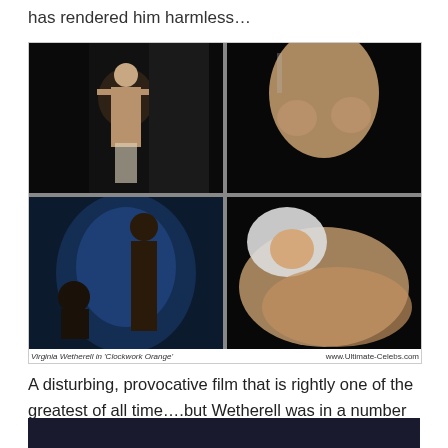has rendered him harmless…
[Figure (photo): Four-panel grid of film stills from 'Clockwork Orange' featuring Virginia Wetherell. Top-left: woman standing against dark background. Top-right: close-up torso shot. Bottom-left: silhouette scene with figure and seated person. Bottom-right: woman with white hair reclining.]
Virginia Wetherell in 'Clockwork Orange'          www.Ultimate-Celebs.com
A disturbing, provocative film that is rightly one of the greatest of all time….but Wetherell was in a number of other fun cult hits as well…
[Figure (photo): Partial bottom image strip showing a dark scene, partially cropped at page bottom.]